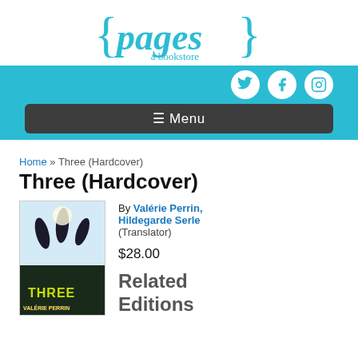[Figure (logo): {pages} a bookstore logo in teal/turquoise color]
[Figure (screenshot): Navigation bar with social media icons (Twitter, Facebook, Instagram) and a hamburger Menu button]
Home » Three (Hardcover)
Three (Hardcover)
[Figure (photo): Book cover of Three by Valérie Perrin showing silhouettes of young people jumping]
By Valérie Perrin, Hildegarde Serle (Translator)
$28.00
Related Editions